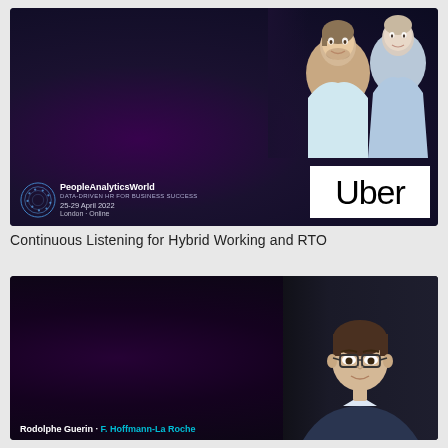[Figure (infographic): Fireside Chat event card: CONTINUOUS LISTENING FOR HYBRID WORKING, featuring RJ Milnor (Uber Technologies) and David Green (Insight222), PeopleAnalyticsWorld conference 25-29 April 2022, London / Online, with Uber logo]
Continuous Listening for Hybrid Working and RTO
[Figure (infographic): Presentation event card: BUILDING A CONTEMPORARY TECHNOLOGICAL INFRASTRUCTURE TO DELIVER GAME-CHANGING PEOPLE INSIGHTS, featuring Rodolphe Guerin · F. Hoffmann-La Roche]